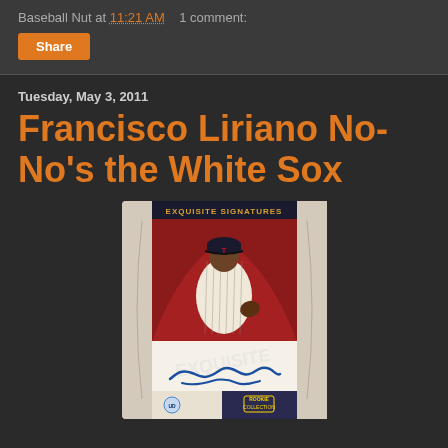Baseball Nut at 11:21 AM   1 comment:
Share
Tuesday, May 3, 2011
Francisco Liriano No-No's the White Sox
[Figure (photo): Francisco Liriano Exquisite Signatures baseball card showing player in Minnesota Twins uniform with autograph]